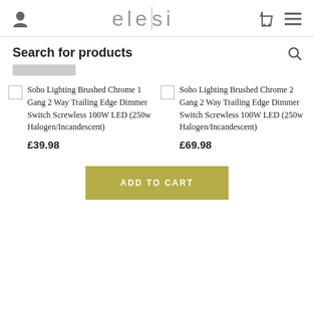elesi
Search for products
Soho Lighting Brushed Chrome 1 Gang 2 Way Trailing Edge Dimmer Switch Screwless 100W LED (250w Halogen/Incandescent) £39.98
Soho Lighting Brushed Chrome 2 Gang 2 Way Trailing Edge Dimmer Switch Screwless 100W LED (250w Halogen/Incandescent) £69.98
ADD TO CART